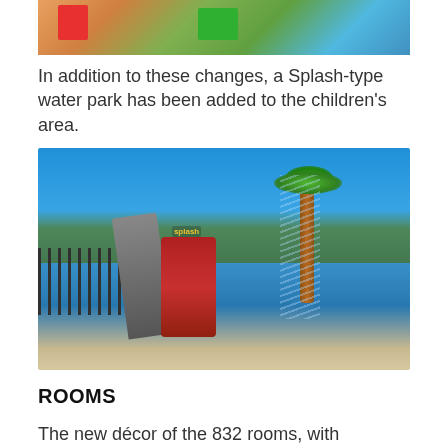[Figure (photo): Children playing in a colorful indoor play area with red and green tables and chairs]
In addition to these changes, a Splash-type water park has been added to the children's area.
[Figure (photo): Outdoor Splash-type water park with blue surface, water sprays, palm tree sculpture, slides and play structures under a clear blue sky]
ROOMS
The new décor of the 832 rooms, with refreshing